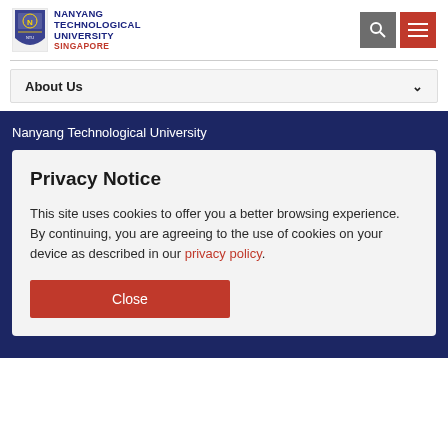[Figure (logo): Nanyang Technological University Singapore logo with shield emblem and text]
[Figure (screenshot): Search icon button (grey) and hamburger menu icon button (red) in header]
About Us
Nanyang Technological University
Privacy Notice
This site uses cookies to offer you a better browsing experience. By continuing, you are agreeing to the use of cookies on your device as described in our privacy policy.
Close